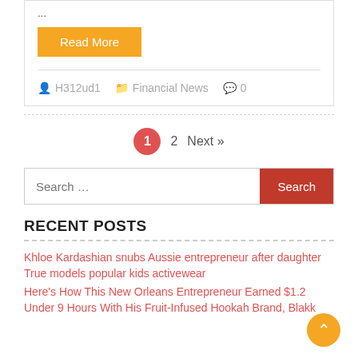...
Read More
H312ud1   Financial News   0
1  2  Next »
Search ...
RECENT POSTS
Khloe Kardashian snubs Aussie entrepreneur after daughter True models popular kids activewear
Here's How This New Orleans Entrepreneur Earned $1.2 Under 9 Hours With His Fruit-Infused Hookah Brand, Blakk